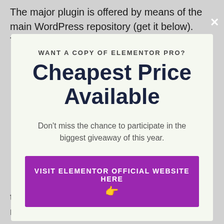The major plugin is offered by means of the main WordPress repository (get it below). There are no
[Figure (screenshot): Modal popup dialog with light green background. Contains subtitle 'WANT A COPY OF ELEMENTOR PRO?', large bold title 'Cheapest Price Available', body text 'Don't miss the chance to participate in the biggest giveaway of this year.', a purple call-to-action button 'VISIT ELEMENTOR OFFICIAL WEBSITE HERE' with a pointing hand emoji, a close X button in the top right, and a 'No thanks, I'm not interested!' dismiss link at the bottom.]
the headers as well as footers of your present motif).